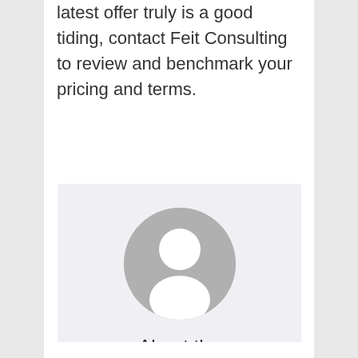latest offer truly is a good tiding, contact Feit Consulting to review and benchmark your pricing and terms.
[Figure (illustration): Generic author avatar placeholder: a grey circle containing a white silhouette of a person (head and shoulders), with the text 'About the Author' below it, set on a light grey background box.]